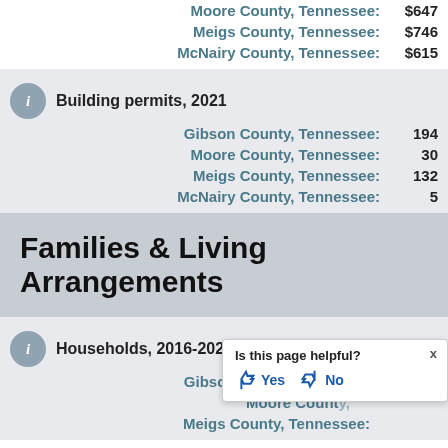Moore County, Tennessee: $647
Meigs County, Tennessee: $746
McNairy County, Tennessee: $615
Building permits, 2021
Gibson County, Tennessee: 194
Moore County, Tennessee: 30
Meigs County, Tennessee: 132
McNairy County, Tennessee: 5
Families & Living Arrangements
Households, 2016-2020
Gibson County, Tennessee: 19,594
Moore County, Tennessee:
Meigs County, Tennessee: